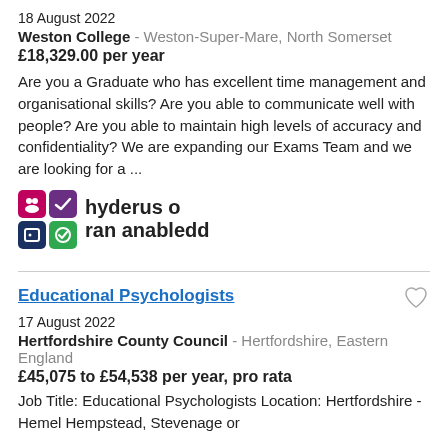18 August 2022
Weston College - Weston-Super-Mare, North Somerset
£18,329.00 per year
Are you a Graduate who has excellent time management and organisational skills? Are you able to communicate well with people? Are you able to maintain high levels of accuracy and confidentiality? We are expanding our Exams Team and we are looking for a ...
[Figure (logo): Hyderus o ran anabledd (Disability Confident) badge with four coloured squares and Welsh text]
Educational Psychologists
17 August 2022
Hertfordshire County Council - Hertfordshire, Eastern England
£45,075 to £54,538 per year, pro rata
Job Title: Educational Psychologists Location: Hertfordshire - Hemel Hempstead, Stevenage or